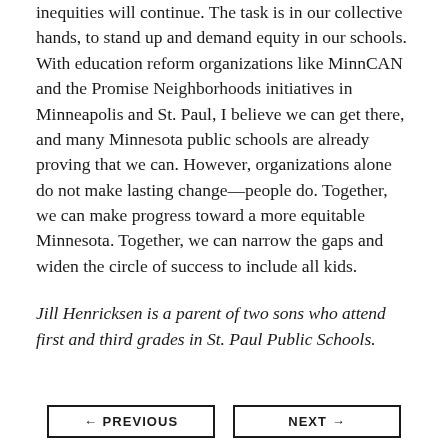inequities will continue. The task is in our collective hands, to stand up and demand equity in our schools. With education reform organizations like MinnCAN and the Promise Neighborhoods initiatives in Minneapolis and St. Paul, I believe we can get there, and many Minnesota public schools are already proving that we can. However, organizations alone do not make lasting change—people do. Together, we can make progress toward a more equitable Minnesota. Together, we can narrow the gaps and widen the circle of success to include all kids.
Jill Henricksen is a parent of two sons who attend first and third grades in St. Paul Public Schools.
← PREVIOUS   NEXT →